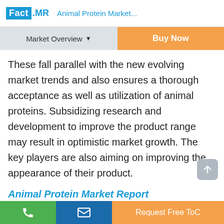Fact.MR  Animal Protein Market...
Market Overview ▼
Buy Now
These fall parallel with the new evolving market trends and also ensures a thorough acceptance as well as utilization of animal proteins. Subsidizing research and development to improve the product range may result in optimistic market growth. The key players are also aiming on improving the appearance of their product.
Animal Protein Market Report
Request Free ToC